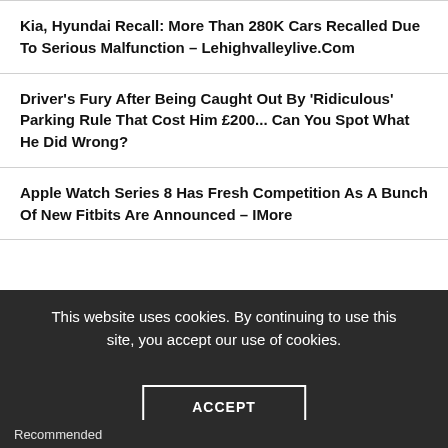Kia, Hyundai Recall: More Than 280K Cars Recalled Due To Serious Malfunction – Lehighvalleylive.Com
Driver's Fury After Being Caught Out By 'Ridiculous' Parking Rule That Cost Him £200... Can You Spot What He Did Wrong?
Apple Watch Series 8 Has Fresh Competition As A Bunch Of New Fitbits Are Announced – IMore
This website uses cookies. By continuing to use this site, you accept our use of cookies.
ACCEPT
Recommended